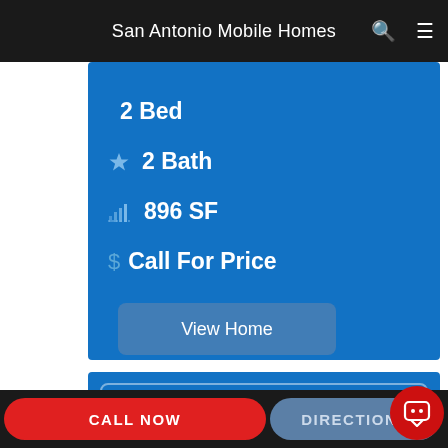San Antonio Mobile Homes
2 Bed
2 Bath
896 SF
$ Call For Price
View Home
CALL NOW
DIRECTIONS